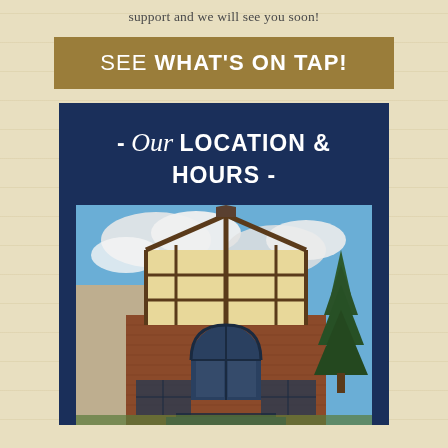support and we will see you soon!
SEE WHAT'S ON TAP!
- Our LOCATION & HOURS -
[Figure (photo): Exterior photo of a Tudor-style building with brick facade, arched windows, decorative timber framing on the upper gable, and a tall evergreen tree to the right, photographed against a blue sky with white clouds.]